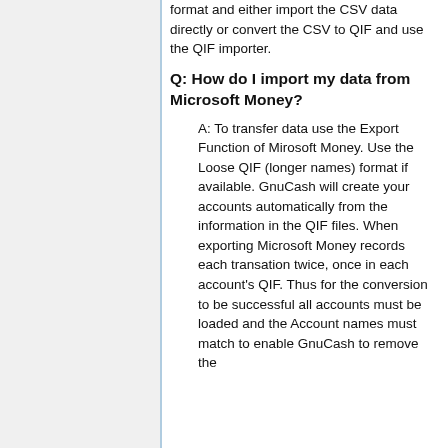format and either import the CSV data directly or convert the CSV to QIF and use the QIF importer.
Q: How do I import my data from Microsoft Money?
A: To transfer data use the Export Function of Mirosoft Money. Use the Loose QIF (longer names) format if available. GnuCash will create your accounts automatically from the information in the QIF files. When exporting Microsoft Money records each transation twice, once in each account's QIF. Thus for the conversion to be successful all accounts must be loaded and the Account names must match to enable GnuCash to remove the